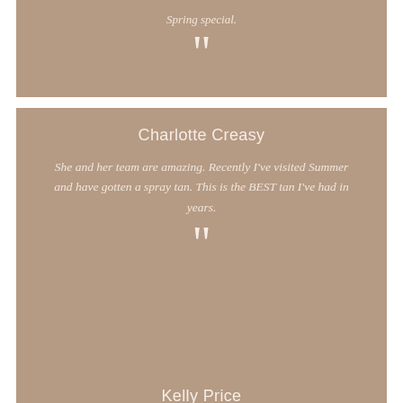Spring special.
”
Charlotte Creasy
She and her team are amazing. Recently I’ve visited Summer and have gotten a spray tan. This is the BEST tan I’ve had in years.
”
Kelly Price
Dr. Kim and her staff are so welcoming